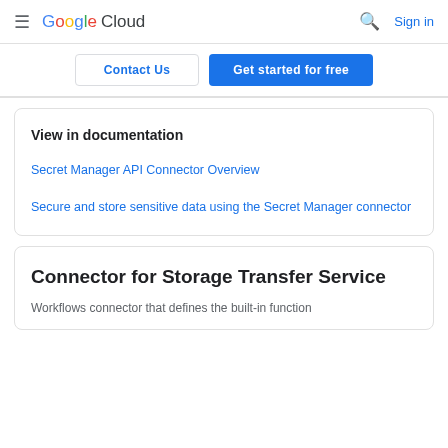Google Cloud — Sign in
Contact Us | Get started for free
View in documentation
Secret Manager API Connector Overview
Secure and store sensitive data using the Secret Manager connector
Connector for Storage Transfer Service
Workflows connector that defines the built-in function